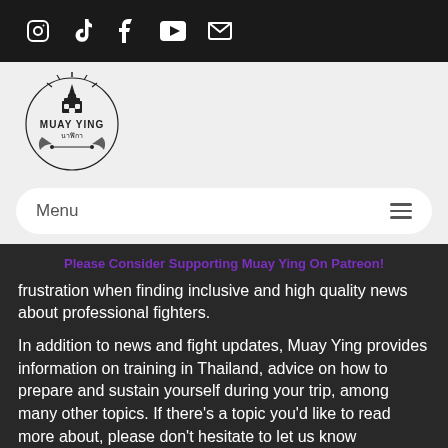Social media icons: Instagram, TikTok, Facebook, YouTube, Email
[Figure (logo): Muay Ying logo — circular emblem with Thai temple and decorative elements, text reading MUAY YING and Thai script นาฬิกา]
Menu ☰
Please Consider Supporting Muay Ying On Patreon!
frustration when finding inclusive and high quality news about professional fighters.
In addition to news and fight updates, Muay Ying provides information on training in Thailand, advice on how to prepare and sustain yourself during your trip, among many other topics. If there's a topic you'd like to read more about, please don't hesitate to let us know